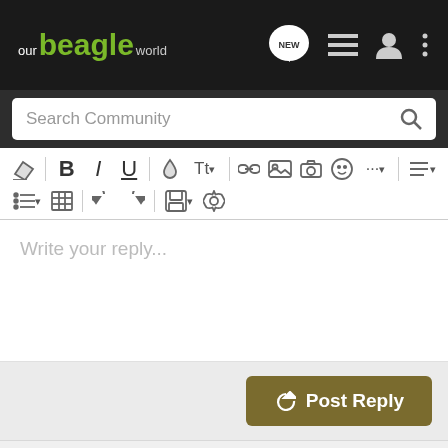our beagle world
Search Community
[Figure (screenshot): Rich text editor toolbar with formatting buttons: eraser, Bold, Italic, Underline, color picker, text size, link, image, camera, emoji, more, align; second row: list, table, undo, redo, save, settings]
Write your reply...
Post Reply
Recommended Reading